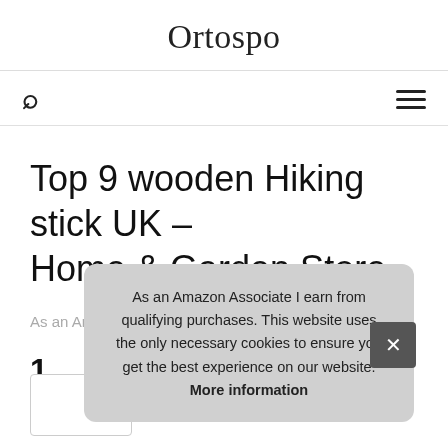Ortospo
Top 9 wooden Hiking stick UK – Home & Garden Store
As an Amazon Associate I earn from qualifying purchases.
1.
As an Amazon Associate I earn from qualifying purchases. This website uses the only necessary cookies to ensure you get the best experience on our website. More information